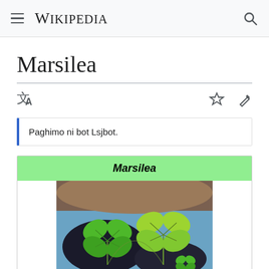Wikipedia
Marsilea
Paghimo ni bot Lsjbot.
Marsilea
[Figure (photo): Photo of Marsilea water clover plants floating on water, showing four-leaf clover shaped bright green fronds with blue sky and brown twigs in the background]